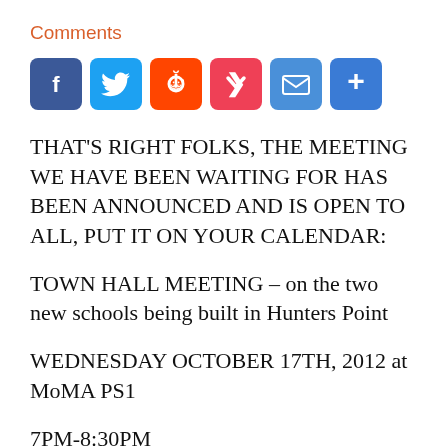Comments
[Figure (other): Social media sharing buttons: Facebook, Twitter, Reddit, Pocket, Email, More]
THAT'S RIGHT FOLKS, THE MEETING WE HAVE BEEN WAITING FOR HAS BEEN ANNOUNCED AND IS OPEN TO ALL, PUT IT ON YOUR CALENDAR:
TOWN HALL MEETING – on the two new schools being built in Hunters Point
WEDNESDAY OCTOBER 17TH, 2012 at MoMA PS1
7PM-8:30PM